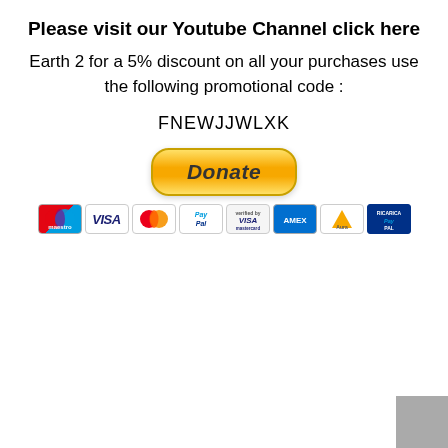Please visit our Youtube Channel click here
Earth 2 for a 5% discount on all your purchases use the following promotional code :
FNEWJJWLXK
[Figure (other): PayPal Donate button with multiple payment method logos (Maestro, Visa, MasterCard, PayPal, Verified by Visa, American Express, Aura, Ricarica PayPal)]